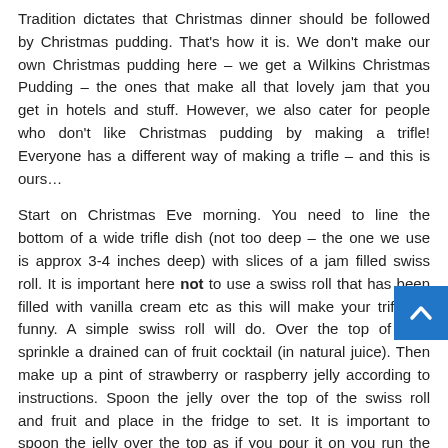Tradition dictates that Christmas dinner should be followed by Christmas pudding. That's how it is. We don't make our own Christmas pudding here – we get a Wilkins Christmas Pudding – the ones that make all that lovely jam that you get in hotels and stuff. However, we also cater for people who don't like Christmas pudding by making a trifle! Everyone has a different way of making a trifle – and this is ours…
Start on Christmas Eve morning. You need to line the bottom of a wide trifle dish (not too deep – the one we use is approx 3-4 inches deep) with slices of a jam filled swiss roll. It is important here not to use a swiss roll that has been filled with vanilla cream etc as this will make your trifle go funny. A simple swiss roll will do. Over the top of that, sprinkle a drained can of fruit cocktail (in natural juice). Then make up a pint of strawberry or raspberry jelly according to instructions. Spoon the jelly over the top of the swiss roll and fruit and place in the fridge to set. It is important to spoon the jelly over the top as if you pour it on you run the risk of your swiss roll floating in your jelly – we want it firmly at the bottom!